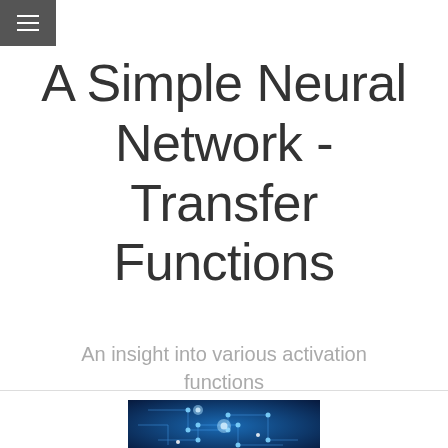≡ (menu icon)
A Simple Neural Network - Transfer Functions
An insight into various activation functions
[Figure (photo): Glowing blue neural network / brain circuit board illustration on dark blue background]